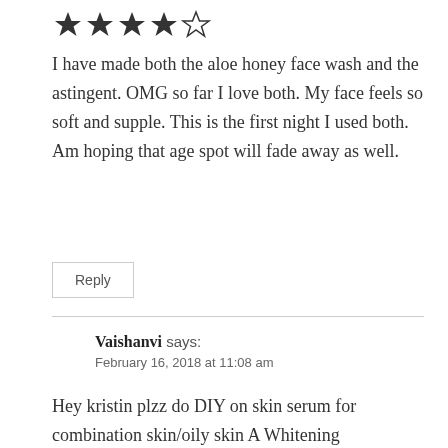[Figure (other): 4 out of 5 stars rating — four filled stars and one empty star]
I have made both the aloe honey face wash and the astingent. OMG so far I love both. My face feels so soft and supple. This is the first night I used both. Am hoping that age spot will fade away as well.
Reply
Vaishanvi says:
February 16, 2018 at 11:08 am
Hey kristin plzz do DIY on skin serum for combination skin/oily skin A Whitening